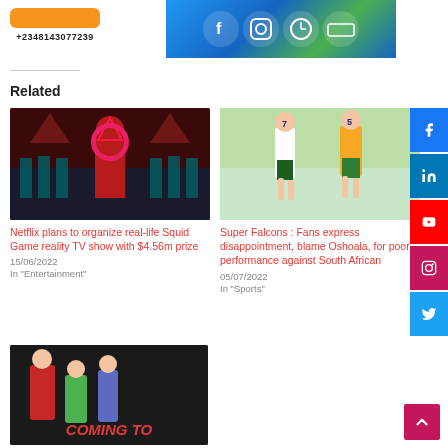[Figure (other): Orange button and phone number +2348143077239 with social media icons image in top banner]
+2348143077239
Related
[Figure (photo): Squid Game still showing red-robed masked figure with triangle symbol and players in teal tracksuits]
Netflix plans to organize real-life Squid Game reality TV show with $4.56m prize
15/06/2022
In "Entertainment"
[Figure (photo): Nigerian Super Falcons soccer players in white and green jerseys running against South African players]
Super Falcons : Fans express disappointment, blame Oshoala, for poor performance against South African
05/07/2022
In "Sports"
[Figure (photo): Movie poster showing people in formal wear with text COMING TO at the bottom in red letters]